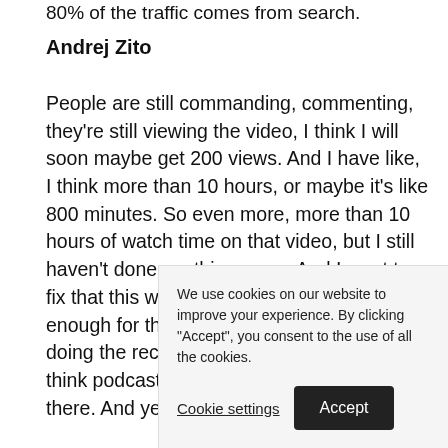80% of the traffic comes from search.
Andrej Zito
People are still commanding, commenting, they're still viewing the video, I think I will soon maybe get 200 views. And I have like, I think more than 10 hours, or maybe it's like 800 minutes. So even more, more than 10 hours of watch time on that video, but I still haven't done anything more. And I want to fix that this week. Anyway, I think that's enough for the and you actua recording and doing the reco and to my You can just I think podcast and you will find something there. And yet
We use cookies on our website to improve your experience. By clicking "Accept", you consent to the use of all the cookies.
Cookie settings
Accept